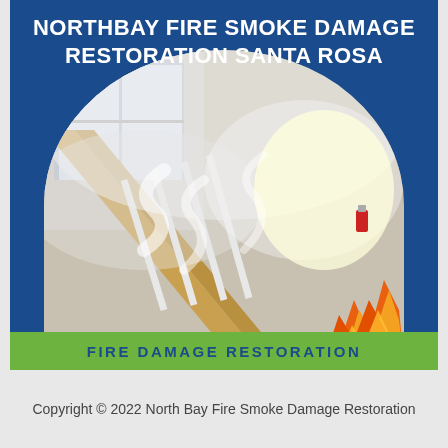NORTHBAY FIRE SMOKE DAMAGE RESTORATION SANTA ROSA
[Figure (photo): Interior of a building stairwell filled with smoke and fire, showing a wooden railing, white banisters, windows with bright light and orange flames visible at the bottom right. Photo displayed in a semicircular/arch shape.]
FIRE DAMAGE RESTORATION
Copyright © 2022 North Bay Fire Smoke Damage Restoration